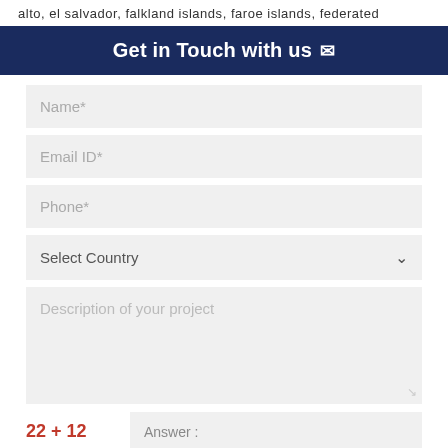alto, el salvador, falkland islands, faroe islands, federated
Get in Touch with us ✉
Name*
Email ID*
Phone*
Select Country
Description of your project
22 + 12   Answer :
SUBMIT